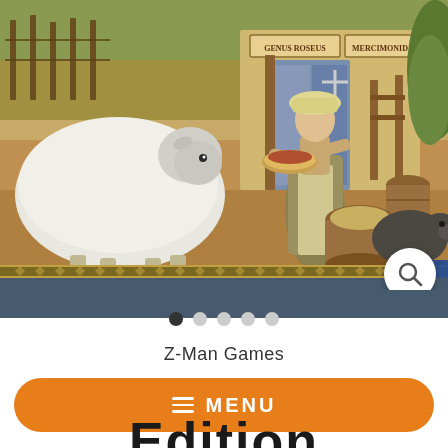[Figure (illustration): Board game artwork showing a medieval market scene with a large white sheep on the left, a woman in period dress holding a bowl of food in the center, a wooden market stall with signs reading 'GENUS ROSEUS' and 'MERCIMONID', a pig on the right, and a barrel with hay in the foreground. The image has warm golden-brown tones.]
Z-Man Games
≡ MENU
Edition